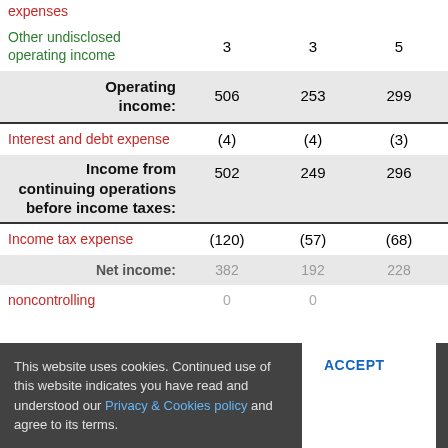|  | Col1 | Col2 | Col3 | Col4 |
| --- | --- | --- | --- | --- |
| expenses (partial/header cut off) |  |  |  |  |
| Other undisclosed operating income | 3 | 3 | 5 | 4 |
| Operating income: | 506 | 253 | 299 | 332 |
| Interest and debt expense | (4) | (4) | (3) | (3) |
| Income from continuing operations before income taxes: | 502 | 249 | 296 | 328 |
| Income tax expense | (120) | (57) | (68) | (73) |
| Net income: (partial) | 382 (partial) | 192 (partial) | 228 (partial) | 255 (partial) |
| noncontrolling (partial) | 0 (partial) | 0 (partial) |  |  |